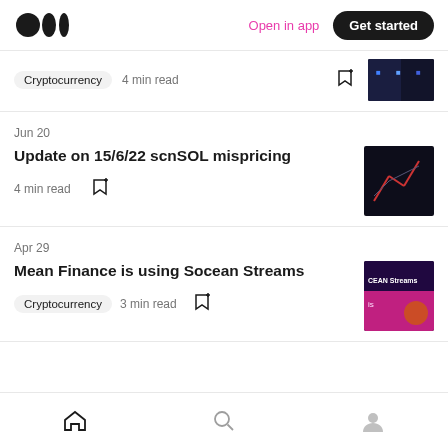Medium logo | Open in app | Get started
Cryptocurrency  4 min read
Jun 20
Update on 15/6/22 scnSOL mispricing
4 min read
Apr 29
Mean Finance is using Socean Streams
Cryptocurrency  3 min read
Home | Search | Profile